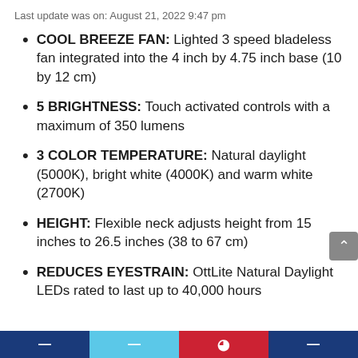Last update was on: August 21, 2022 9:47 pm
COOL BREEZE FAN: Lighted 3 speed bladeless fan integrated into the 4 inch by 4.75 inch base (10 by 12 cm)
5 BRIGHTNESS: Touch activated controls with a maximum of 350 lumens
3 COLOR TEMPERATURE: Natural daylight (5000K), bright white (4000K) and warm white (2700K)
HEIGHT: Flexible neck adjusts height from 15 inches to 26.5 inches (38 to 67 cm)
REDUCES EYESTRAIN: OttLite Natural Daylight LEDs rated to last up to 40,000 hours